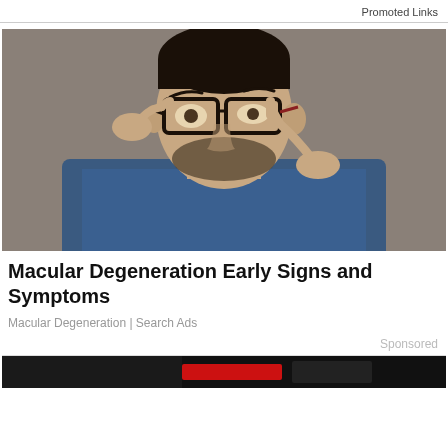Promoted Links
[Figure (photo): A middle-aged man in a blue denim shirt holding his glasses with one hand and pressing a finger near his eye with the other hand, against a gray background.]
Macular Degeneration Early Signs and Symptoms
Macular Degeneration | Search Ads
Sponsored
[Figure (photo): Bottom strip of a dark image, partially visible.]